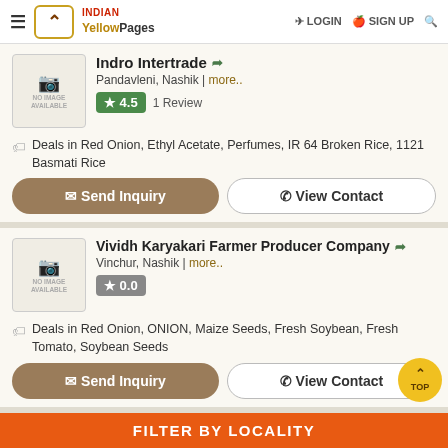INDIAN Yellow Pages | LOGIN | SIGN UP
Indro Intertrade
Pandavleni, Nashik | more..
4.5 1 Review
Deals in Red Onion, Ethyl Acetate, Perfumes, IR 64 Broken Rice, 1121 Basmati Rice
Vividh Karyakari Farmer Producer Company
Vinchur, Nashik | more..
0.0
Deals in Red Onion, ONION, Maize Seeds, Fresh Soybean, Fresh Tomato, Soybean Seeds
FILTER BY LOCALITY